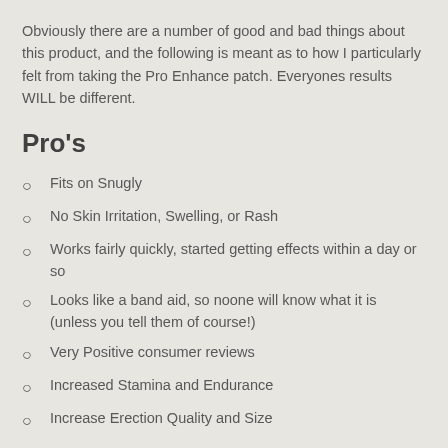Obviously there are a number of good and bad things about this product, and the following is meant as to how I particularly felt from taking the Pro Enhance patch. Everyones results WILL be different.
Pro's
Fits on Snugly
No Skin Irritation, Swelling, or Rash
Works fairly quickly, started getting effects within a day or so
Looks like a band aid, so noone will know what it is (unless you tell them of course!)
Very Positive consumer reviews
Increased Stamina and Endurance
Increase Erection Quality and Size